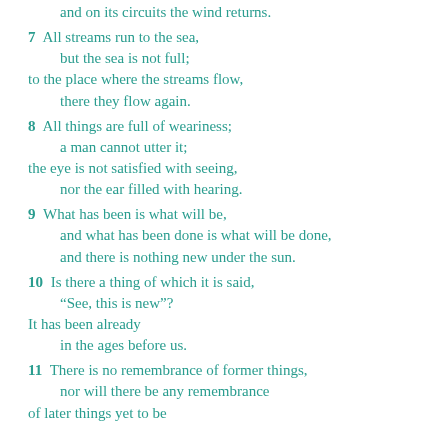and on its circuits the wind returns.
7 All streams run to the sea,
    but the sea is not full;
to the place where the streams flow,
    there they flow again.
8 All things are full of weariness;
    a man cannot utter it;
the eye is not satisfied with seeing,
    nor the ear filled with hearing.
9 What has been is what will be,
    and what has been done is what will be done,
    and there is nothing new under the sun.
10 Is there a thing of which it is said,
    “See, this is new”?
It has been already
    in the ages before us.
11 There is no remembrance of former things,
    nor will there be any remembrance
of later things yet to be